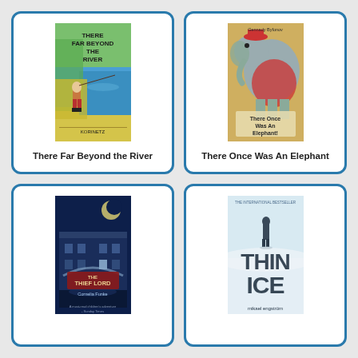[Figure (illustration): Book cover of 'There Far Beyond the River' showing a person fishing by a river with yellow and green colors, author Korinetz]
There Far Beyond the River
[Figure (illustration): Book cover of 'There Once Was An Elephant' by Gennady Byfonov showing an elephant in red costume with other animals]
There Once Was An Elephant
[Figure (illustration): Book cover of 'The Thief Lord' by Cornelia Funke showing a blue nighttime building scene with moon]
[Figure (illustration): Book cover of 'Thin Ice' by Mikael Engström showing a lone figure standing on ice with large text THIN ICE]